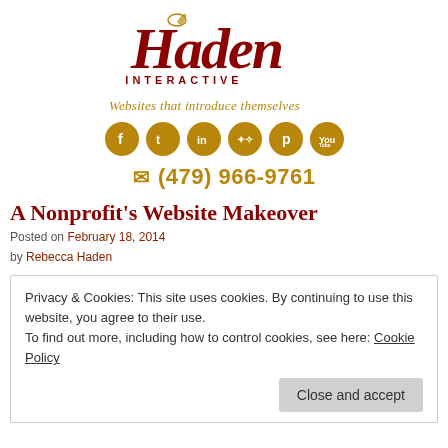[Figure (logo): Haden Interactive logo with decorative script lettering in dark red and tagline 'Websites that introduce themselves' in gold italic]
[Figure (infographic): Row of six golden circular social media icons: Facebook, Twitter, LinkedIn, App/Star, Pinterest, YouTube]
✉ (479) 966-9761
A Nonprofit's Website Makeover
Posted on February 18, 2014 by Rebecca Haden
Privacy & Cookies: This site uses cookies. By continuing to use this website, you agree to their use. To find out more, including how to control cookies, see here: Cookie Policy
Close and accept